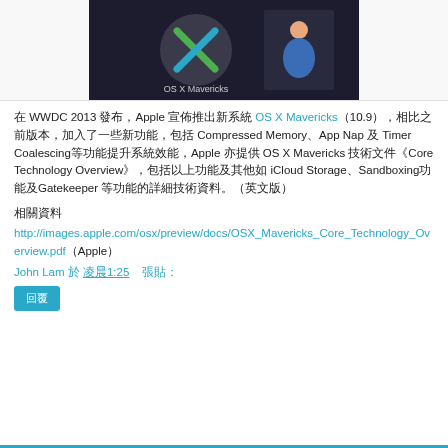[Figure (screenshot): Screenshot of Apple WWDC 2013 presentation showing OS X Mavericks logo (green X on grey background) and a presenter in blue shirt on dark stage background]
在 WWDC 2013 發布，Apple 宣佈推出新系統 OS X Mavericks（10.9），相比之前版本，加入了一些新功能，包括 Compressed Memory、App Nap 及 Timer Coalescing等功能提升系統效能，Apple 亦提供 OS X Mavericks 技術文件《Core Technology Overview》，包括以上功能及其他如 iCloud Storage、Sandboxing功能及Gatekeeper 等功能的詳細技術資料。（英文版）
相關資料
http://images.apple.com/osx/preview/docs/OSX_Mavericks_Core_Technology_Overview.pdf（Apple）
John Lam 於 凌晨1:25 張貼：
回覆